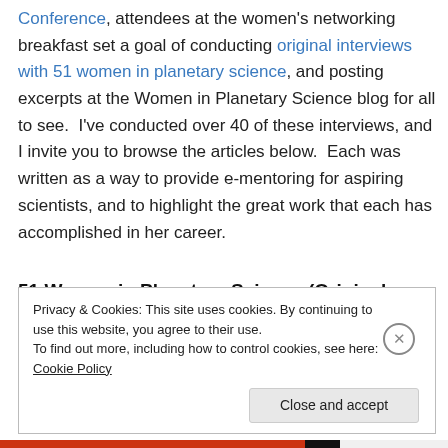Conference, attendees at the women's networking breakfast set a goal of conducting original interviews with 51 women in planetary science, and posting excerpts at the Women in Planetary Science blog for all to see. I've conducted over 40 of these interviews, and I invite you to browse the articles below. Each was written as a way to provide e-mentoring for aspiring scientists, and to highlight the great work that each has accomplished in her career.
51 Women in Planetary Science (Original Interviews, 2010-11)
Privacy & Cookies: This site uses cookies. By continuing to use this website, you agree to their use. To find out more, including how to control cookies, see here: Cookie Policy